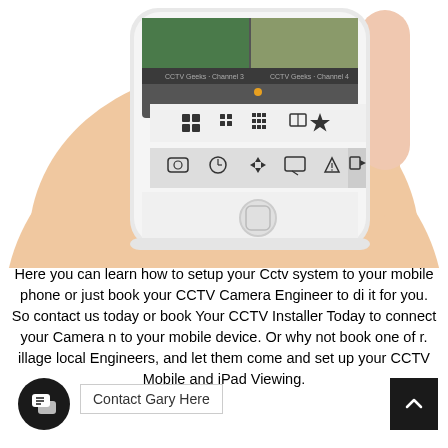[Figure (photo): A hand holding a white smartphone displaying a CCTV camera app with multiple camera views and control icons]
Here you can learn how to setup your Cctv system to your mobile phone or just book your CCTV Camera Engineer to di it for you. So contact us today or book Your CCTV Installer Today to connect your Camera n to your mobile device. Or why not book one of r. illage local Engineers, and let them come and set up your CCTV Mobile and iPad Viewing.
Contact Gary Here